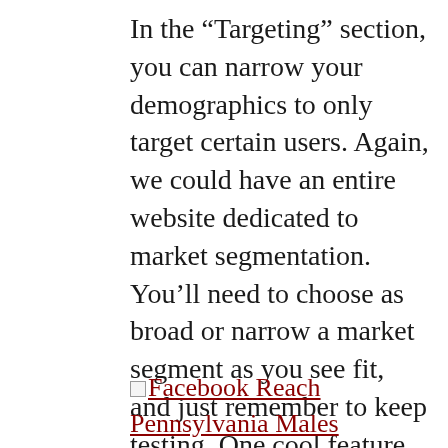In the “Targeting” section, you can narrow your demographics to only target certain users. Again, we could have an entire website dedicated to market segmentation. You’ll need to choose as broad or narrow a market segment as you see fit, and just remember to keep testing. One cool feature is that Facebook will tell you how many users are included in your selected segment.
[Figure (other): Link with small image icon followed by hyperlink text: Facebook Reach Pennsylvania Males]